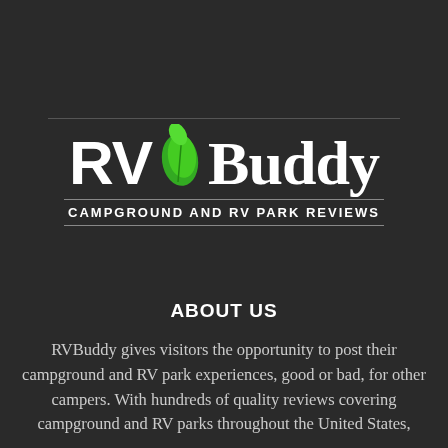[Figure (logo): RVBuddy logo with green leaf between 'RV' and 'Buddy' text, with tagline 'CAMPGROUND AND RV PARK REVIEWS' below]
ABOUT US
RVBuddy gives visitors the opportunity to post their campground and RV park experiences, good or bad, for other campers. With hundreds of quality reviews covering campground and RV parks throughout the United States,